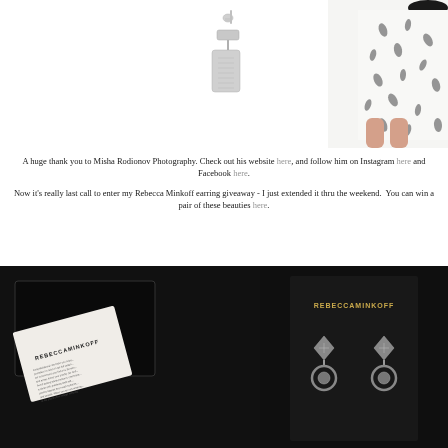[Figure (photo): Silver dangling earring product photo on white background]
[Figure (photo): Person wearing a white and black leaf-print dress, cropped to show torso and legs]
A huge thank you to Misha Rodionov Photography. Check out his website here, and follow him on Instagram here and Facebook here.
Now it's really last call to enter my Rebecca Minkoff earring giveaway - I just extended it thru the weekend.  You can win a pair of these beauties here.
[Figure (photo): Rebecca Minkoff branded jewelry box with card insert, and Rebecca Minkoff branded earring card with geometric crystal earrings on dark background]